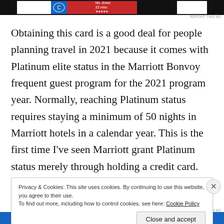[Figure (screenshot): Advertisement banner at the top of the page showing a dark background with white, blue, and red blocks]
Obtaining this card is a good deal for people planning travel in 2021 because it comes with Platinum elite status in the Marriott Bonvoy frequent guest program for the 2021 program year. Normally, reaching Platinum status requires staying a minimum of 50 nights in Marriott hotels in a calendar year. This is the first time I've seen Marriott grant Platinum status merely through holding a credit card.
Platinum is one of the top levels in the Bonvoy program
Privacy & Cookies: This site uses cookies. By continuing to use this website, you agree to their use.
To find out more, including how to control cookies, see here: Cookie Policy
Close and accept